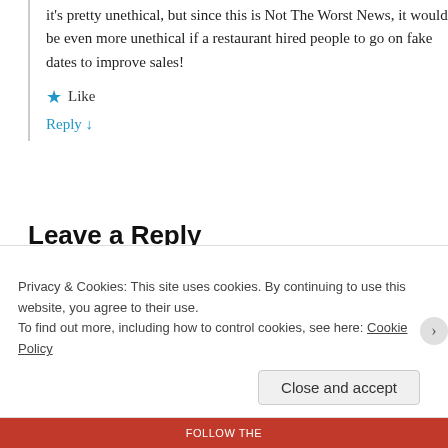it's pretty unethical, but since this is Not The Worst News, it would be even more unethical if a restaurant hired people to go on fake dates to improve sales!
★ Like
Reply ↓
Leave a Reply
Your email address will not be published. Required fields are marked *
Comment *
Privacy & Cookies: This site uses cookies. By continuing to use this website, you agree to their use.
To find out more, including how to control cookies, see here: Cookie Policy
Close and accept